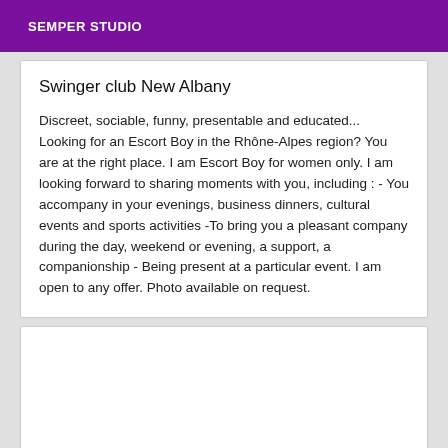SEMPER STUDIO
Swinger club New Albany
Discreet, sociable, funny, presentable and educated... Looking for an Escort Boy in the Rhône-Alpes region? You are at the right place. I am Escort Boy for women only. I am looking forward to sharing moments with you, including : - You accompany in your evenings, business dinners, cultural events and sports activities -To bring you a pleasant company during the day, weekend or evening, a support, a companionship - Being present at a particular event. I am open to any offer. Photo available on request.